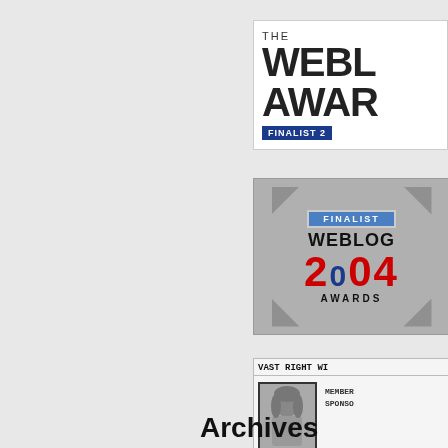[Figure (logo): The Weblog Awards Finalist badge - white background with bold text 'THE WEBL AWAR' and blue bar 'FINALIST']
[Figure (logo): Weblog 2004 Awards Finalist badge - silver/gray with decorative corners, red year 2004, blue FINALIST bar]
[Figure (logo): Vast Right Wing member badge with photo of young child and text MEMBER SPONS, signed Sondra]
Archives